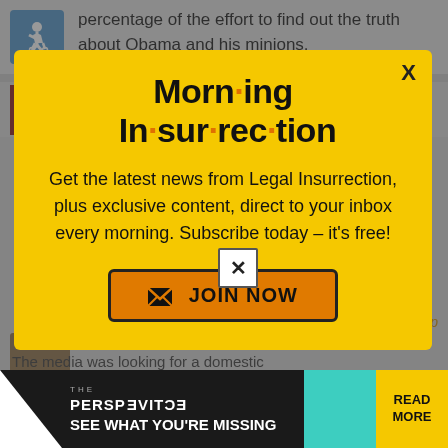percentage of the effort to find out the truth about Obama and his minions.
[Figure (screenshot): Yellow modal popup for Morning Insurrection newsletter signup with title, description text, and JOIN NOW button with close X button]
[Figure (infographic): Ad banner for The Perspective with text SEE WHAT YOU'RE MISSING and READ MORE button]
The media was looking for a domestic